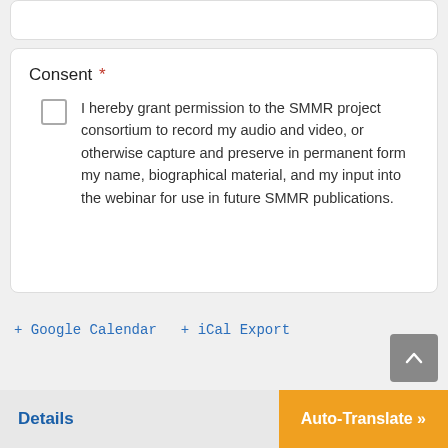Consent *
I hereby grant permission to the SMMR project consortium to record my audio and video, or otherwise capture and preserve in permanent form my name, biographical material, and my input into the webinar for use in future SMMR publications.
+ Google Calendar   + iCal Export
Details
Auto-Translate »